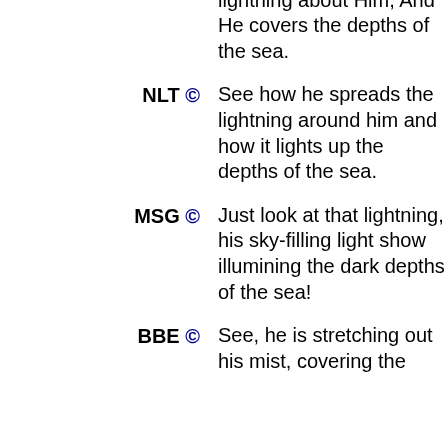NASB © Behold, He spreads His lightning about Him, And He covers the depths of the sea.
NLT © See how he spreads the lightning around him and how it lights up the depths of the sea.
MSG © Just look at that lightning, his sky-filling light show illumining the dark depths of the sea!
BBE © See, he is stretching out his mist, covering the